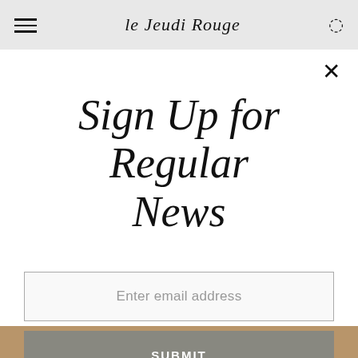le Jeudi Rouge
Sign Up for Regular News
Enter email address
SUBMIT
[Figure (photo): Partial view of a person, bottom strip of page, warm beige/tan tones]